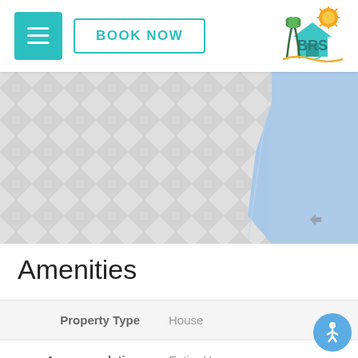BOOK NOW
[Figure (logo): BRS vacation rental logo with palm tree, house, and sun]
[Figure (photo): Pool/patio aerial photo with blue pool water and tile patio]
Amenities
| Property | Value |
| --- | --- |
| Property Type | House |
| Accommodation | Entire Home |
| Check-In | Lockbox |